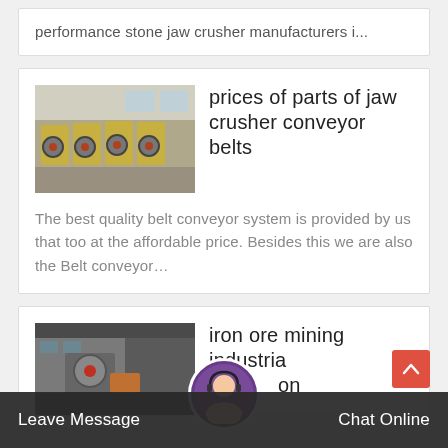performance stone jaw crusher manufacturers i...
[Figure (photo): Industrial jaw crushers lined up in a warehouse]
prices of parts of jaw crusher conveyor belts
The best quality belt conveyor system is provided by us that too at the affordable price. Besides this we are also the Belt conveyor…
[Figure (photo): Industrial jaw crusher machine closeup]
iron ore mining industria... on
Leave Message
Chat Online